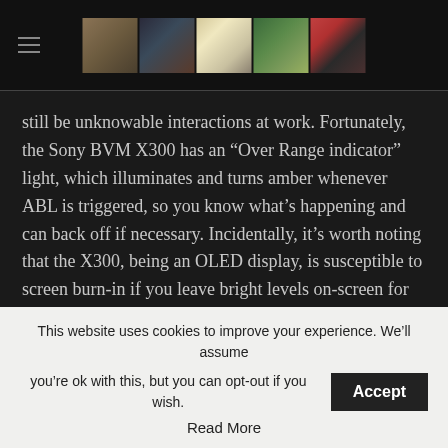[Navigation header with hamburger menu and thumbnail images]
still be unknowable interactions at work. Fortunately, the Sony BVM X300 has an “Over Range indicator” light, which illuminates and turns amber whenever ABL is triggered, so you know what’s happening and can back off if necessary. Incidentally, it’s worth noting that the X300, being an OLED display, is susceptible to screen burn-in if you leave bright levels on-screen for too long, so don’t leave an HDR image on pause going out to your display before going home for the evening.
Bram Desmet, CEO of Flanders Scientific, pointed out that VESA publishes a set of test patterns (JCDMtp-HL01) devised by the
This website uses cookies to improve your experience. We’ll assume you’re ok with this, but you can opt-out if you wish.
Accept
Read More